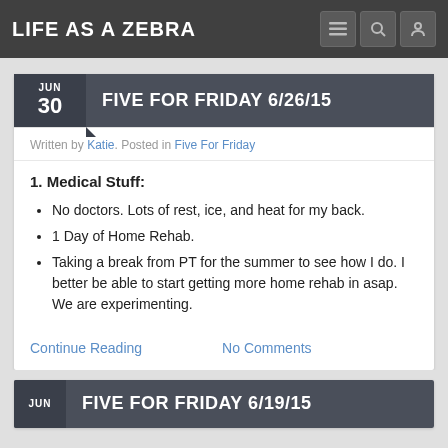LIFE AS A ZEBRA
FIVE FOR FRIDAY 6/26/15
Written by Katie. Posted in Five For Friday
1. Medical Stuff:
No doctors. Lots of rest, ice, and heat for my back.
1 Day of Home Rehab.
Taking a break from PT for the summer to see how I do. I better be able to start getting more home rehab in asap. We are experimenting.
Continue Reading   No Comments
FIVE FOR FRIDAY 6/19/15